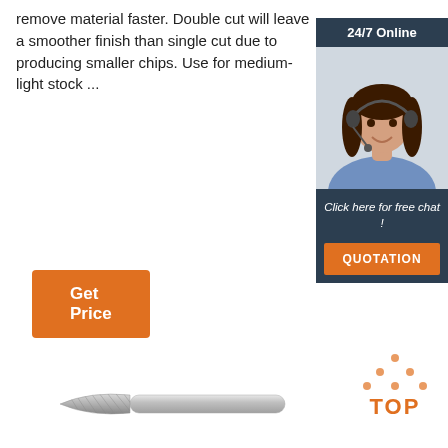remove material faster. Double cut will leave a smoother finish than single cut due to producing smaller chips. Use for medium-light stock ...
[Figure (other): Orange 'Get Price' button]
[Figure (other): Sidebar with '24/7 Online' header, photo of woman with headset, 'Click here for free chat!' text, and orange QUOTATION button]
[Figure (other): TOP logo with dots forming triangle above the text 'TOP' in orange]
[Figure (photo): Carbide burr rotary tool bit, cylindrical silver shank with tapered cutting head]